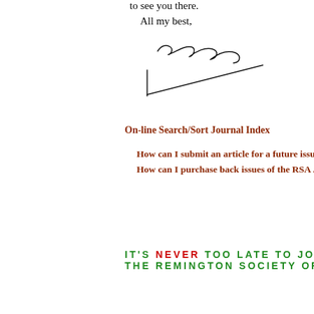to see you there.
All my best,
[Figure (illustration): Handwritten signature reading 'roy marcol' with a long descending flourish line below]
On-line Search/Sort Journal Index
How can I submit an article for a future issu
How can I purchase back issues of the RSA J
IT'S NEVER TOO LATE TO JOIN THE REMINGTON SOCIETY OF A